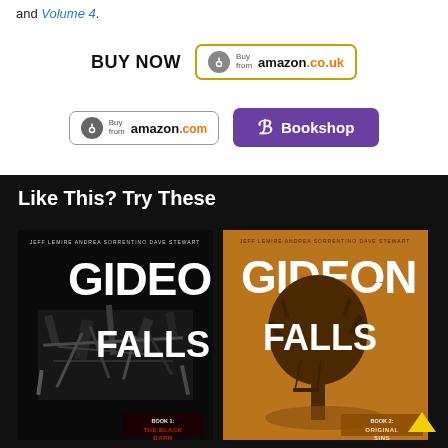and Volume 4.
BUY NOW
[Figure (other): Amazon.co.uk buy button with gold border and circular logo]
[Figure (other): Amazon.com buy button with grey border and circular logo]
[Figure (other): Bookshop purple buy button with B logo]
Like This? Try These
[Figure (illustration): Gideon Falls Book 1: The Black Barn cover - black and white architectural debris collage]
[Figure (illustration): Gideon Falls Book 2: Original Sins cover - orange/amber toned tree silhouette]